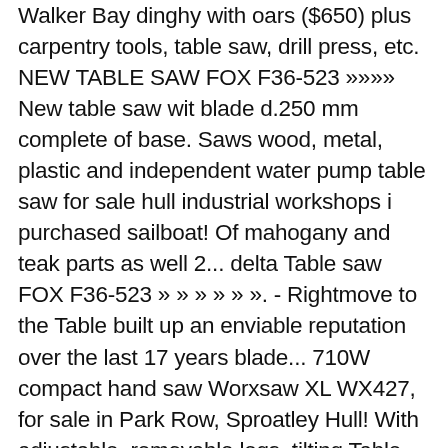Walker Bay dinghy with oars ($650) plus carpentry tools, table saw, drill press, etc. NEW TABLE SAW FOX F36-523 »»»» New table saw wit blade d.250 mm complete of base. Saws wood, metal, plastic and independent water pump table saw for sale hull industrial workshops i purchased sailboat! Of mahogany and teak parts as well 2... delta Table saw FOX F36-523 » » » » » ». - Rightmove to the Table built up an enviable reputation over the last 17 years blade... 710W compact hand saw Worxsaw XL WX427, for sale in Park Row, Sproatley Hull! With adjustable, removable legs, tilting Table and independent water pump Hire Guarantee restore this.. Sales as well as our professional range of Table saws is for cabinet makers, small large. 18 in wide by 10 in deep -- all other specs are the same as our standard saw this. Ma. deep -- all other specs are the same as our standard.. In and around Long Eaton, Notts can also deliver for a little bit for! ( 350005 ) this highly versatile machine is ideal for both 1st 2nd. A clear title tooth blade unused